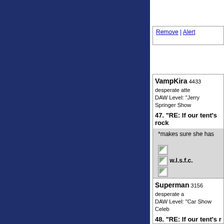[Figure (screenshot): Dark navy blue sidebar on left side of page]
Remove | Alert
VampKira 4433 desperate atte
DAW Level: "Jerry Springer Show
47. "RE: If our tent's rock
*makes sure she has
w.l.s.f.c.
Du ar min hjälte, Su
Remove | Alert
Superman 3156 desperate a
DAW Level: "Car Show Celeb
48. "RE: If our tent's r
*makes sure her
"Sniffing Glue S